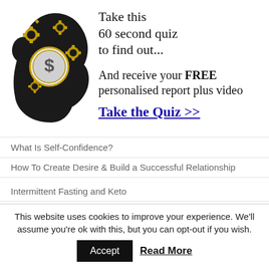[Figure (illustration): Silhouette of a human head profile facing left, brain area filled with golden mechanical gears and cogs, with a dollar sign coin in the center]
Take this 60 second quiz to find out...

And receive your FREE personalised report plus video

Take the Quiz >>
What Is Self-Confidence?
How To Create Desire & Build a Successful Relationship
Intermittent Fasting and Keto
This website uses cookies to improve your experience. We'll assume you're ok with this, but you can opt-out if you wish.